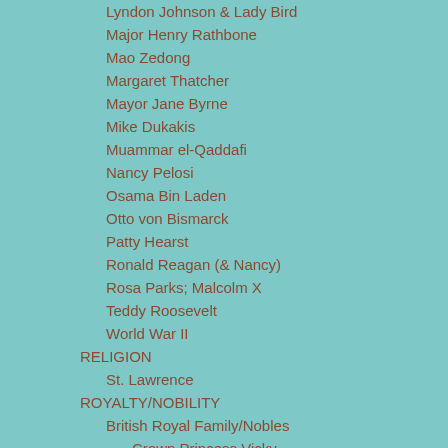Lyndon Johnson & Lady Bird
Major Henry Rathbone
Mao Zedong
Margaret Thatcher
Mayor Jane Byrne
Mike Dukakis
Muammar el-Qaddafi
Nancy Pelosi
Osama Bin Laden
Otto von Bismarck
Patty Hearst
Ronald Reagan (& Nancy)
Rosa Parks; Malcolm X
Teddy Roosevelt
World War II
RELIGION
St. Lawrence
ROYALTY/NOBILITY
British Royal Family/Nobles
Crown Princess Vicky
Duke and Duchess of Windsor, the
King George IV